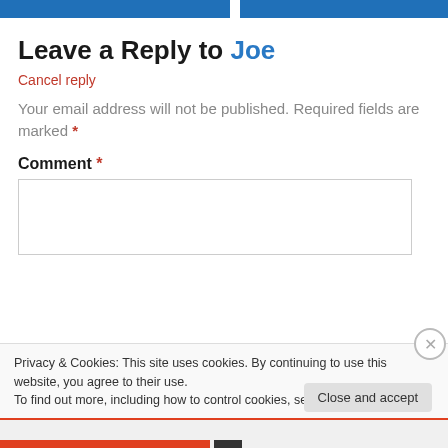Leave a Reply to Joe
Cancel reply
Your email address will not be published. Required fields are marked *
Comment *
Privacy & Cookies: This site uses cookies. By continuing to use this website, you agree to their use. To find out more, including how to control cookies, see here: Cookie Policy